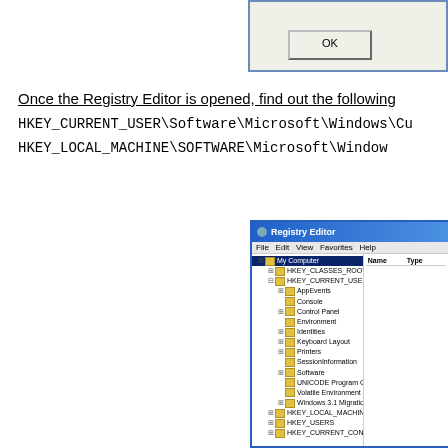[Figure (screenshot): Partial dialog box with OK button visible, Windows-style dialog with beige background and blue border]
Once the Registry Editor is opened, find out the following HKEY_CURRENT_USER\Software\Microsoft\Windows\Cu... HKEY_LOCAL_MACHINE\SOFTWARE\Microsoft\Windows...
[Figure (screenshot): Windows Registry Editor showing tree with My Computer, HKEY_CLASSES_ROOT, HKEY_CURRENT_USER (expanded with subkeys: AppEvents, Console, Control Panel, Environment, Identities, Keyboard Layout, Printers, SessionInformation, Software, UNICODE Program Groups, Volatile Environment, Windows 3.1 Migration Stat), HKEY_LOCAL_MACHINE, HKEY_USERS, HKEY_CURRENT_CONFIG. Right pane shows Name and Type columns.]